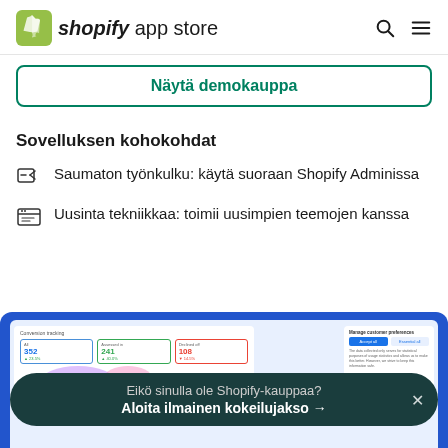shopify app store
Näytä demokauppa
Sovelluksen kohokohdat
Saumaton työnkulku: käytä suoraan Shopify Adminissa
Uusinta tekniikkaa: toimii uusimpien teemojen kanssa
[Figure (screenshot): Shopify app dashboard screenshot showing conversion tracking metrics with map visualization and a side panel, overlaid with a CTA banner: Eikö sinulla ole Shopify-kauppaa? Aloita ilmainen kokeilujakso →]